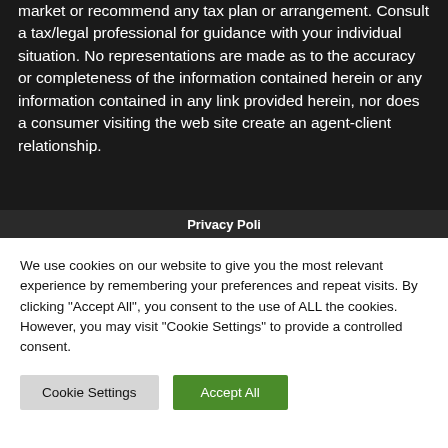market or recommend any tax plan or arrangement. Consult a tax/legal professional for guidance with your individual situation. No representations are made as to the accuracy or completeness of the information contained herein or any information contained in any link provided herein, nor does a consumer visiting the web site create an agent-client relationship.
Privacy Poli...
We use cookies on our website to give you the most relevant experience by remembering your preferences and repeat visits. By clicking "Accept All", you consent to the use of ALL the cookies. However, you may visit "Cookie Settings" to provide a controlled consent.